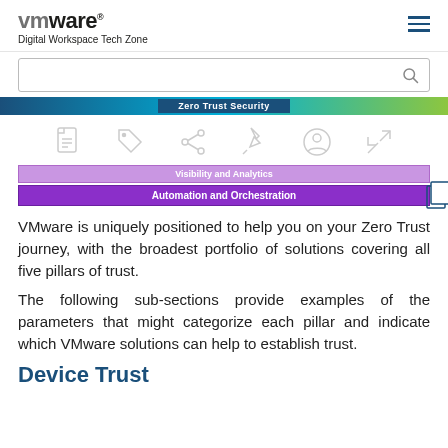VMware Digital Workspace Tech Zone
[Figure (screenshot): VMware website header with logo, Digital Workspace Tech Zone subtitle, hamburger menu, search bar, navigation banner, toolbar icons, and Zero Trust content diagram showing Visibility and Analytics and Automation and Orchestration bars]
VMware is uniquely positioned to help you on your Zero Trust journey, with the broadest portfolio of solutions covering all five pillars of trust.
The following sub-sections provide examples of the parameters that might categorize each pillar and indicate which VMware solutions can help to establish trust.
Device Trust